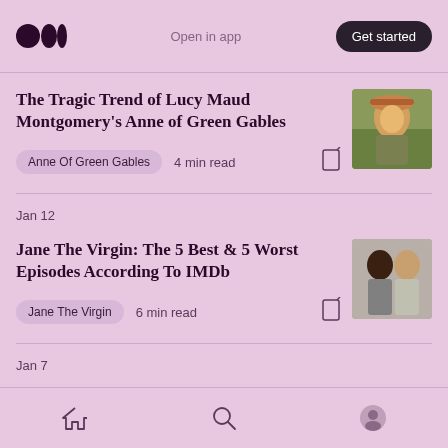Open in app | Get started
The Tragic Trend of Lucy Maud Montgomery's Anne of Green Gables
Anne Of Green Gables  4 min read
Jan 12
Jane The Virgin: The 5 Best & 5 Worst Episodes According To IMDb
Jane The Virgin  6 min read
Jan 7
Harry Potter: Who Each Main Character
Home  Search  Profile